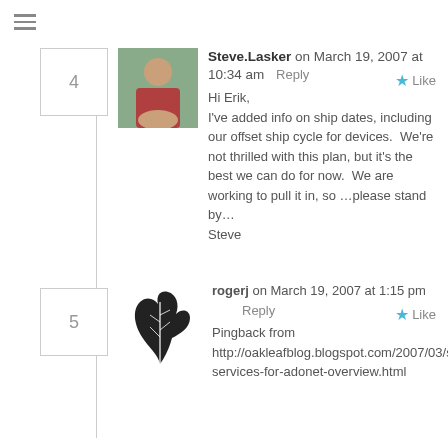Steve.Lasker on March 19, 2007 at 10:34 am  Reply  Like
Hi Erik,
I've added info on ship dates, including our offset ship cycle for devices.  We're not thrilled with this plan, but it's the best we can do for now.  We are working to pull it in, so ...please stand by...
Steve
rogerj on March 19, 2007 at 1:15 pm  Reply  Like
Pingback from http://oakleafblog.blogspot.com/2007/03/sync-services-for-adonet-overview.html